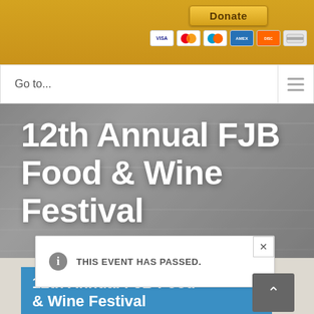[Figure (screenshot): Gold donation bar at top with Donate button and payment card icons (Visa, Mastercard, Maestro, Amex, Discover, credit card)]
Go to...
12th Annual FJB Food & Wine Festival
THIS EVENT HAS PASSED.
12th Annual FJB Food & Wine Festival